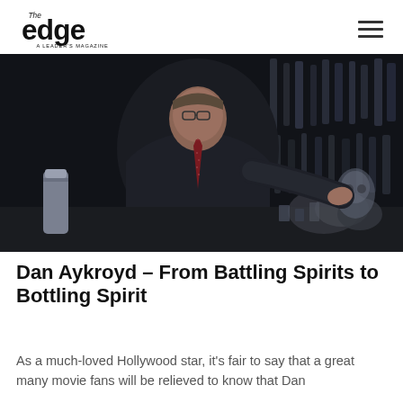The Edge – A Leader's Magazine
[Figure (photo): Dan Aykroyd standing behind a bar counter with bottles in the background, wearing a dark jacket and red tie with glasses]
Dan Aykroyd – From Battling Spirits to Bottling Spirit
As a much-loved Hollywood star, it's fair to say that a great many movie fans will be relieved to know that Dan